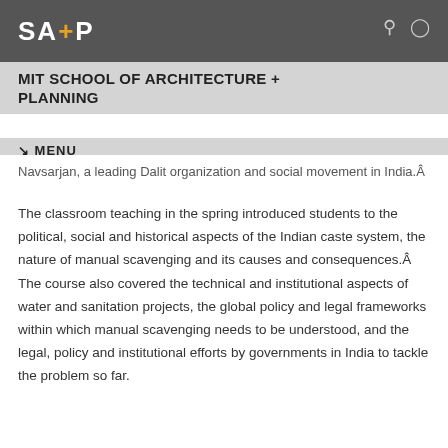SA+P
MIT SCHOOL OF ARCHITECTURE + PLANNING
↘ MENU
Navsarjan, a leading Dalit organization and social movement in India.Â
The classroom teaching in the spring introduced students to the political, social and historical aspects of the Indian caste system, the nature of manual scavenging and its causes and consequences.Â The course also covered the technical and institutional aspects of water and sanitation projects, the global policy and legal frameworks within which manual scavenging needs to be understood, and the legal, policy and institutional efforts by governments in India to tackle the problem so far.